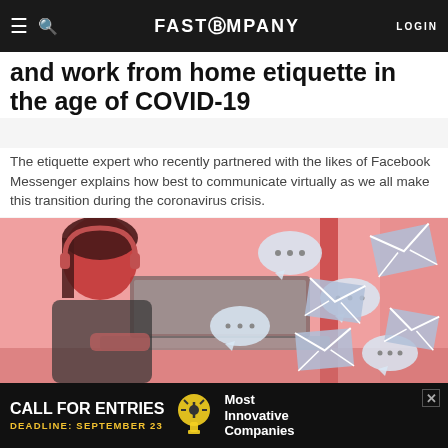FAST COMPANY | LOGIN
and work from home etiquette in the age of COVID-19
The etiquette expert who recently partnered with the likes of Facebook Messenger explains how best to communicate virtually as we all make this transition during the coronavirus crisis.
[Figure (photo): Woman with headphones working on a laptop, with floating chat bubble and envelope icons overlaid on a pink-toned background]
CALL FOR ENTRIES DEADLINE: SEPTEMBER 23 Most Innovative Companies